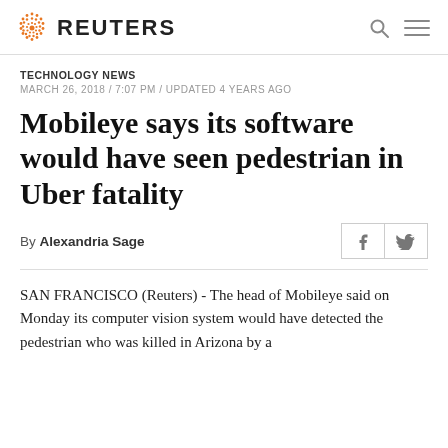REUTERS
TECHNOLOGY NEWS
MARCH 26, 2018 / 7:07 PM / UPDATED 4 YEARS AGO
Mobileye says its software would have seen pedestrian in Uber fatality
By Alexandria Sage
SAN FRANCISCO (Reuters) - The head of Mobileye said on Monday its computer vision system would have detected the pedestrian who was killed in Arizona by a